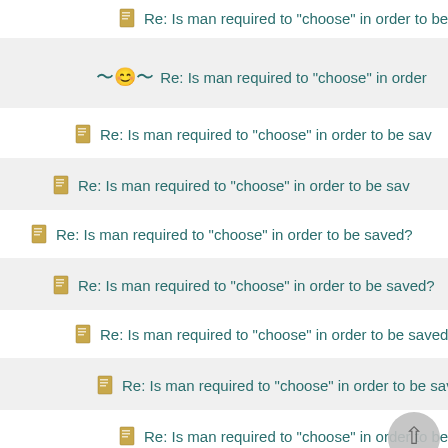Re: Is man required to "choose" in order to be
Re: Is man required to "choose" in order
Re: Is man required to "choose" in order to be sav
Re: Is man required to "choose" in order to be sav
Re: Is man required to "choose" in order to be saved?
Re: Is man required to "choose" in order to be saved?
Re: Is man required to "choose" in order to be saved?
Re: Is man required to "choose" in order to be saved?
Re: Is man required to "choose" in order to be save
Re: Is man required to "choose" in order to be saved?